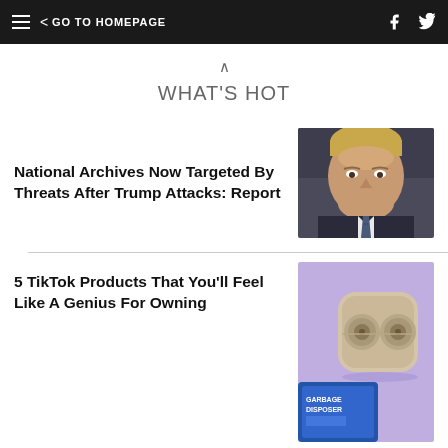< GO TO HOMEPAGE
WHAT'S HOT
National Archives Now Targeted By Threats After Trump Attacks: Report
[Figure (photo): Close-up photo of Donald Trump in a dark suit and striped tie, stern expression]
5 TikTok Products That You'll Feel Like A Genius For Owning
[Figure (photo): Product image showing wireless earbuds in a case and garbage disposer packaging on a purple background]